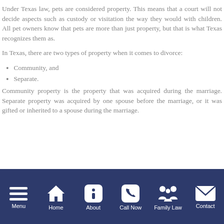Under Texas law, pets are considered property. This means that a court will not decide aspects such as custody or visitation the way they would with children. All pet owners know that pets are more than just property, but that is what Texas recognizes them as.
In Texas, there are two types of property when it comes to divorce:
Community, and
Separate.
Community property is the property that was acquired during the marriage. Separate property was acquired by one spouse before the marriage, or it was gifted or inherited to a spouse during the marriage.
Menu | Home | About | Call Now | Family Law | Contact